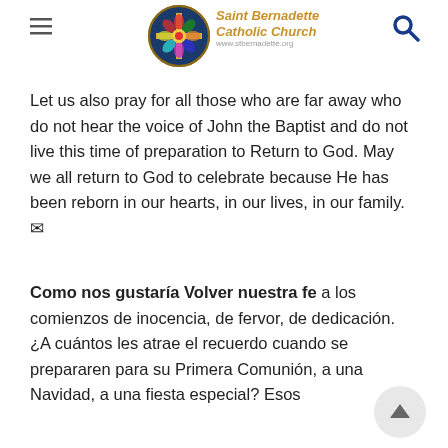Saint Bernadette Catholic Church
Let us also pray for all those who are far away who do not hear the voice of John the Baptist and do not live this time of preparation to Return to God. May we all return to God to celebrate because He has been reborn in our hearts, in our lives, in our family. ✉
Como nos gustaría Volver nuestra fe a los comienzos de inocencia, de fervor, de dedicación. ¿A cuántos les atrae el recuerdo cuando se prepararen para su Primera Comunión, a una Navidad, a una fiesta especial? Esos